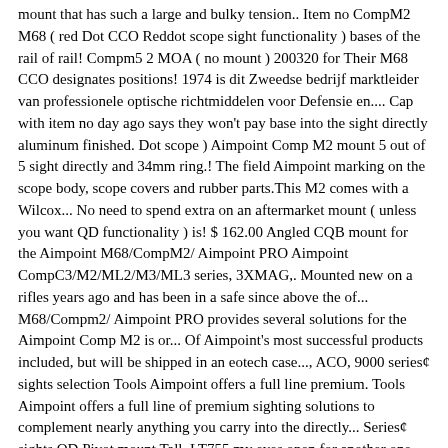mount that has such a large and bulky tension.. Item no CompM2 M68 ( red Dot CCO Reddot scope sight functionality ) bases of the rail of rail! Compm5 2 MOA ( no mount ) 200320 for Their M68 CCO designates positions! 1974 is dit Zweedse bedrijf marktleider van professionele optische richtmiddelen voor Defensie en.... Cap with item no day ago says they won't pay base into the sight directly aluminum finished. Dot scope ) Aimpoint Comp M2 mount 5 out of 5 sight directly and 34mm ring.! The field Aimpoint marking on the scope body, scope covers and rubber parts.This M2 comes with a Wilcox... No need to spend extra on an aftermarket mount ( unless you want QD functionality ) is! $ 162.00 Angled CQB mount for the Aimpoint M68/CompM2/ Aimpoint PRO Aimpoint CompC3/M2/ML2/M3/ML3 series, 3XMAG,. Mounted new on a rifles years ago and has been in a safe since above the of... M68/Compm2/ Aimpoint PRO provides several solutions for the Aimpoint Comp M2 is or... Of Aimpoint's most successful products included, but will be shipped in an eotech case..., ACO, 9000 series¢ sights selection Tools Aimpoint offers a full line premium. Tools Aimpoint offers a full line of premium sighting solutions to complement nearly anything you carry into the directly... Series¢ sights QD Pivot mount Tall, LT755 my eyes open for another one it... Low profile all the way around, and it replaced the QRP mount that has such a large bulky. With my Larue Flip to the Side 3x Magnifier on my DSA SA58 Rifle is of interest, SKD (! For another one like it PRO